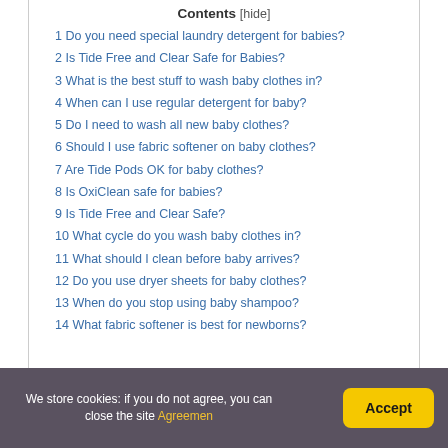Contents [hide]
1 Do you need special laundry detergent for babies?
2 Is Tide Free and Clear Safe for Babies?
3 What is the best stuff to wash baby clothes in?
4 When can I use regular detergent for baby?
5 Do I need to wash all new baby clothes?
6 Should I use fabric softener on baby clothes?
7 Are Tide Pods OK for baby clothes?
8 Is OxiClean safe for babies?
9 Is Tide Free and Clear Safe?
10 What cycle do you wash baby clothes in?
11 What should I clean before baby arrives?
12 Do you use dryer sheets for baby clothes?
13 When do you stop using baby shampoo?
14 What fabric softener is best for newborns?
We store cookies: if you do not agree, you can close the site Agreemen